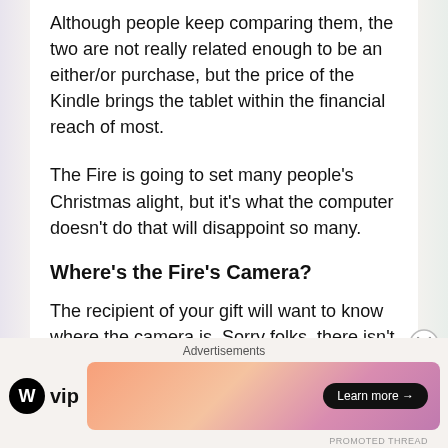Although people keep comparing them, the two are not really related enough to be an either/or purchase, but the price of the Kindle brings the tablet within the financial reach of most.
The Fire is going to set many people's Christmas alight, but it's what the computer doesn't do that will disappoint so many.
Where's the Fire's Camera?
The recipient of your gift will want to know where the camera is. Sorry folks, there isn't one. You might want to Skype with your new toy, but you will have to wait for the next model. The lack of a
Advertisements
[Figure (logo): WordPress VIP logo with circular W icon and 'vip' text]
[Figure (other): Advertisement banner with gradient pink/orange background and 'Learn more' button]